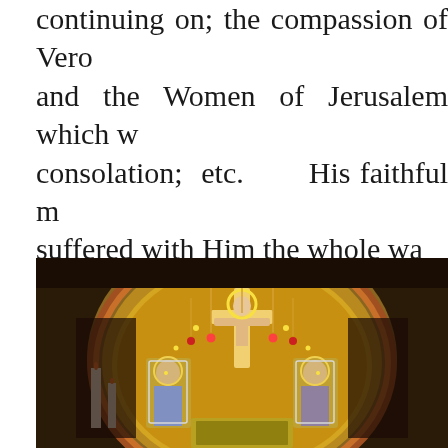continuing on; the compassion of Veronica and the Women of Jerusalem which was consolation; etc.    His faithful mother suffered with Him the whole way to Calvary, was with her dying son beneath the cross for the three hours, and helped to bury Him (see Mel Gibson's movie, "The Passion of Christ".
[Figure (photo): A richly decorated church altar with a golden crucifix at the center, ornate iconostasis with silver and gold decorations, religious icons of the Virgin Mary and saints, hanging lamps, and elaborate Byzantine-style ornamentation.]